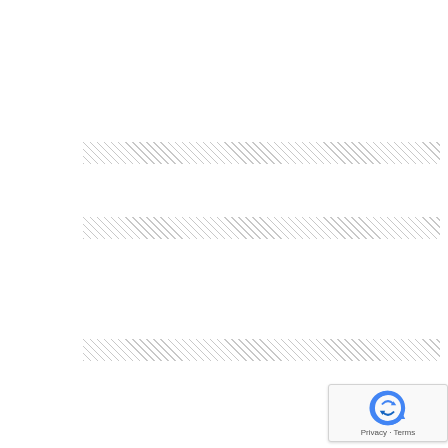[Figure (other): Hatched/striped rectangular bar 1 - diagonal line pattern in light gray]
[Figure (other): Hatched/striped rectangular bar 2 - diagonal line pattern in light gray]
[Figure (other): Hatched/striped rectangular bar 3 - diagonal line pattern in light gray]
[Figure (other): reCAPTCHA badge with logo and Privacy/Terms links]